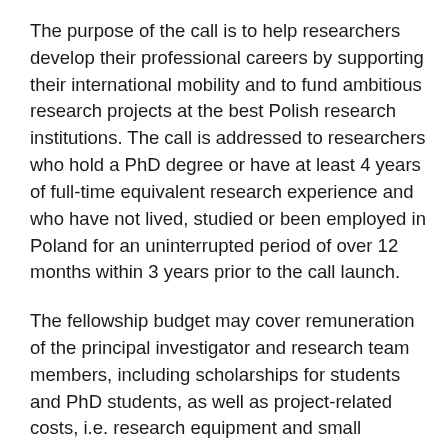The purpose of the call is to help researchers develop their professional careers by supporting their international mobility and to fund ambitious research projects at the best Polish research institutions. The call is addressed to researchers who hold a PhD degree or have at least 4 years of full-time equivalent research experience and who have not lived, studied or been employed in Poland for an uninterrupted period of over 12 months within 3 years prior to the call launch.
The fellowship budget may cover remuneration of the principal investigator and research team members, including scholarships for students and PhD students, as well as project-related costs, i.e. research equipment and small instruments, materials, outsourced services, business trips, open access to publications, etc.
NCN has allocated PLN 48 M (over € 11 M) for research